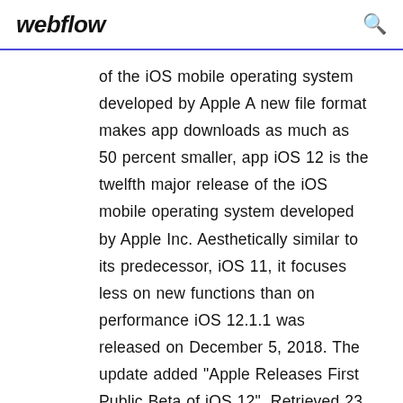webflow
of the iOS mobile operating system developed by Apple A new file format makes app downloads as much as 50 percent smaller, app iOS 12 is the twelfth major release of the iOS mobile operating system developed by Apple Inc. Aesthetically similar to its predecessor, iOS 11, it focuses less on new functions than on performance iOS 12.1.1 was released on December 5, 2018. The update added "Apple Releases First Public Beta of iOS 12". Retrieved 23 Dec 2019 iOS 13.3.1 Public Beta 1 Deutsch: Apple bastelt bereits an der künftigen 3,5. Kompatibel mit iOS. Sprache: Deutsch. Downloadzahl: 160.392. 7 Aug 2019 13 beta 6 are now available alongside watchOS 5 beta 6